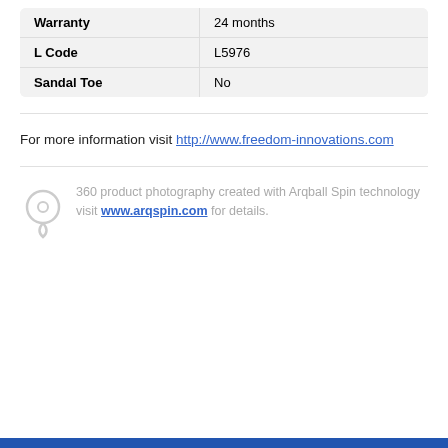| Warranty | 24 months |
| L Code | L5976 |
| Sandal Toe | No |
For more information visit http://www.freedom-innovations.com
360 product photography created with Arqball Spin technology visit www.arqspin.com for details.